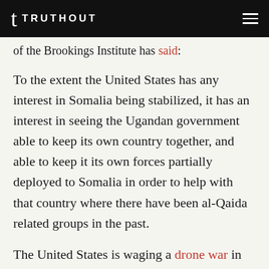TRUTHOUT
of the Brookings Institute has said:
To the extent the United States has any interest in Somalia being stabilized, it has an interest in seeing the Ugandan government able to keep its own country together, and able to keep it its own forces partially deployed to Somalia in order to help with that country where there have been al-Qaida related groups in the past.
The United States is waging a drone war in Somalia. Although it is not on the scale of the